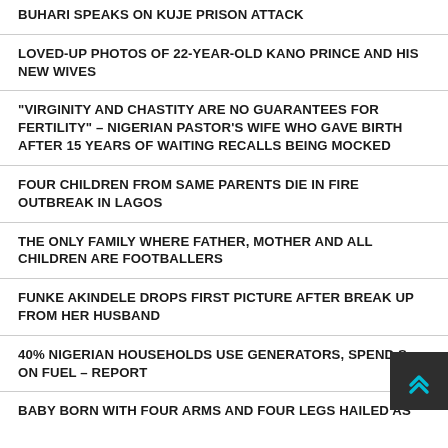BUHARI SPEAKS ON KUJE PRISON ATTACK
LOVED-UP PHOTOS OF 22-YEAR-OLD KANO PRINCE AND HIS NEW WIVES
"VIRGINITY AND CHASTITY ARE NO GUARANTEES FOR FERTILITY" – NIGERIAN PASTOR'S WIFE WHO GAVE BIRTH AFTER 15 YEARS OF WAITING RECALLS BEING MOCKED
FOUR CHILDREN FROM SAME PARENTS DIE IN FIRE OUTBREAK IN LAGOS
THE ONLY FAMILY WHERE FATHER, MOTHER AND ALL CHILDREN ARE FOOTBALLERS
FUNKE AKINDELE DROPS FIRST PICTURE AFTER BREAK UP FROM HER HUSBAND
40% NIGERIAN HOUSEHOLDS USE GENERATORS, SPEND S… ON FUEL – REPORT
BABY BORN WITH FOUR ARMS AND FOUR LEGS HAILED AS…